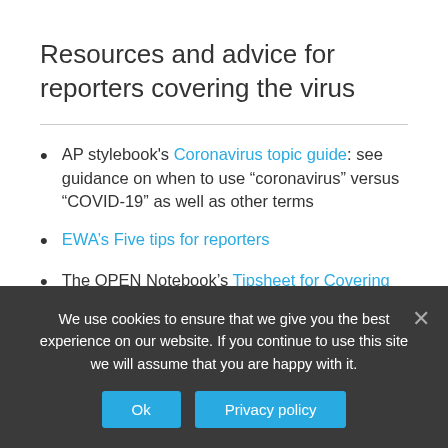Resources and advice for reporters covering the virus
AP stylebook's Coronavirus topic guide: see guidance on when to use “coronavirus” versus “COVID-19” as well as other terms
EWA’s Five tips for reporters
The OPEN Notebook’s Tipsheet for Covering the Coronavirus Epidemic Effectively without Spreading Misinformation
WHO’s guide to preventing and addressing
We use cookies to ensure that we give you the best experience on our website. If you continue to use this site we will assume that you are happy with it.